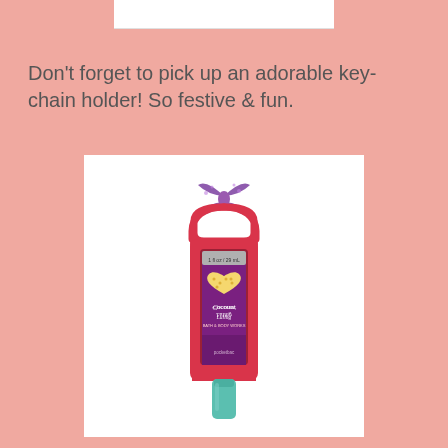[Figure (photo): Partial top view of a product image strip at the top of the page]
Don't forget to pick up an adorable key-chain holder! So festive & fun.
[Figure (photo): A red silicone key-chain holder containing a small hand sanitizer bottle with a purple label featuring a yellow heart design, topped with a purple glittery bow clip, with a teal cap at the bottom, displayed on a white background.]